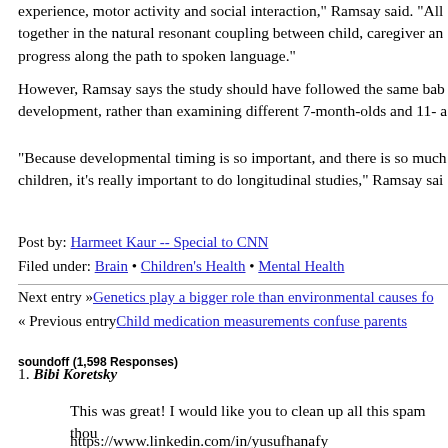experience, motor activity and social interaction," Ramsay said. "All together in the natural resonant coupling between child, caregiver and progress along the path to spoken language."
However, Ramsay says the study should have followed the same baby development, rather than examining different 7-month-olds and 11- a
"Because developmental timing is so important, and there is so much children, it's really important to do longitudinal studies," Ramsay sai
Post by: Harmeet Kaur -- Special to CNN
Filed under: Brain • Children's Health • Mental Health
Next entry »Genetics play a bigger role than environmental causes fo
« Previous entryChild medication measurements confuse parents
soundoff (1,598 Responses)
1. Bibi Koretsky
This was great! I would like you to clean up all this spam thou
https://www.linkedin.com/in/yusufhanafy